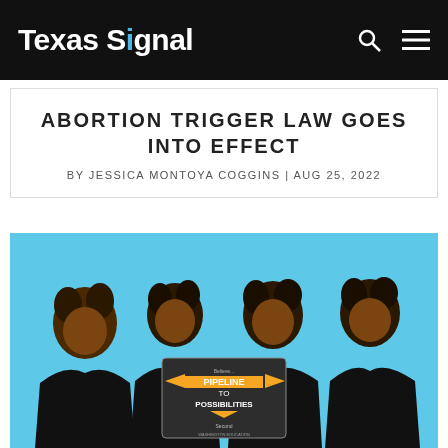Texas Signal
ABORTION TRIGGER LAW GOES INTO EFFECT
BY JESSICA MONTOYA COGGINS | AUG 25, 2022
[Figure (photo): Four Black women wearing black judicial robes stand together against a blue background, holding a sign that reads 'Pipeline to Possibilities Second' with yellow arrow graphics.]